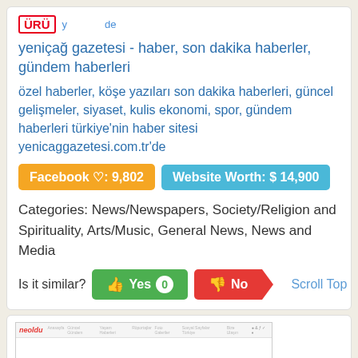yeniçağ gazetesi - haber, son dakika haberler, gündem haberleri
özel haberler, köşe yazıları son dakika haberleri, güncel gelişmeler, siyaset, kulis ekonomi, spor, gündem haberleri türkiye'nin haber sitesi yenicaggazetesi.com.tr'de
Facebook ♡: 9,802   Website Worth: $ 14,900
Categories: News/Newspapers, Society/Religion and Spirituality, Arts/Music, General News, News and Media
Is it similar? Yes 0  No  Scroll Top
[Figure (screenshot): Screenshot of neoldu website showing navigation bar with logo and menu links]